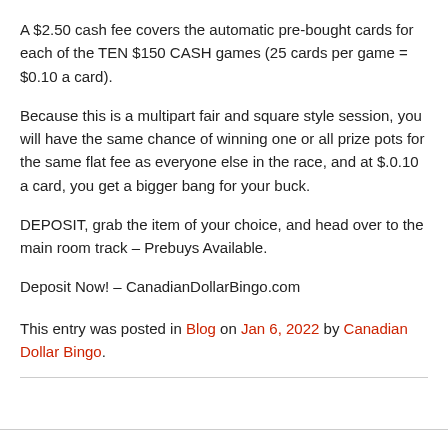A $2.50 cash fee covers the automatic pre-bought cards for each of the TEN $150 CASH games (25 cards per game = $0.10 a card).
Because this is a multipart fair and square style session, you will have the same chance of winning one or all prize pots for the same flat fee as everyone else in the race, and at $.0.10 a card, you get a bigger bang for your buck.
DEPOSIT, grab the item of your choice, and head over to the main room track – Prebuys Available.
Deposit Now! – CanadianDollarBingo.com
This entry was posted in Blog on Jan 6, 2022 by Canadian Dollar Bingo.